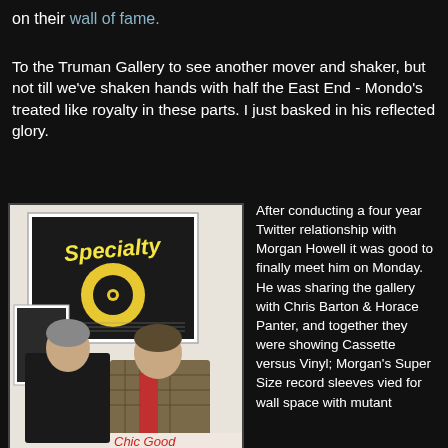on their wall of fame.
To the Truman Gallery to see another mover and shaker, but not till we've shaken hands with half the East End - Mondo's treated like royalty in these parts. I just basked in his reflected glory.
[Figure (photo): Two men standing in front of a framed Specialty record label artwork on a gallery wall. One man is in a dark jacket, the other wears a checked jacket and red scarf. Text visible at bottom reads 'Chic Good'.]
After conducting a four year Twitter relationship with Morgan Howell it was good to finally meet him on Monday. He was sharing the gallery with Chris Barton & Horace Panter, and together they were showing Cassette versus Vinyl; Morgan's Super Size record sleeves vied for wall space with mutant